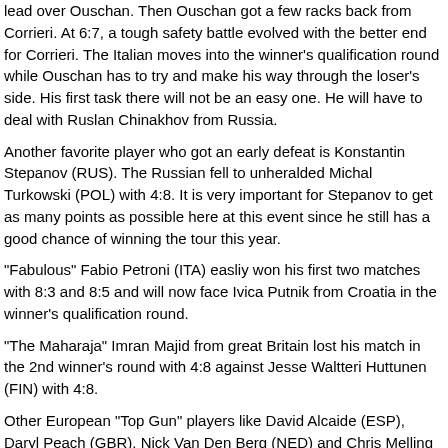lead over Ouschan. Then Ouschan got a few racks back from Corrieri. At 6:7, a tough safety battle evolved with the better end for Corrieri. The Italian moves into the winner's qualification round while Ouschan has to try and make his way through the loser's side. His first task there will not be an easy one. He will have to deal with Ruslan Chinakhov from Russia.
Another favorite player who got an early defeat is Konstantin Stepanov (RUS). The Russian fell to unheralded Michal Turkowski (POL) with 4:8. It is very important for Stepanov to get as many points as possible here at this event since he still has a good chance of winning the tour this year.
"Fabulous" Fabio Petroni (ITA) easliy won his first two matches with 8:3 and 8:5 and will now face Ivica Putnik from Croatia in the winner's qualification round.
"The Maharaja" Imran Majid from great Britain lost his match in the 2nd winner's round with 4:8 against Jesse Waltteri Huttunen (FIN) with 4:8.
Other European "Top Gun" players like David Alcaide (ESP), Daryl Peach (GBR), Nick Van Den Berg (NED) and Chris Melling (GBR), just to name a few, won all their opening matches and will play the winner's qualification round tomorrow.
All results and more can be seen at www.eurotournline.eu...